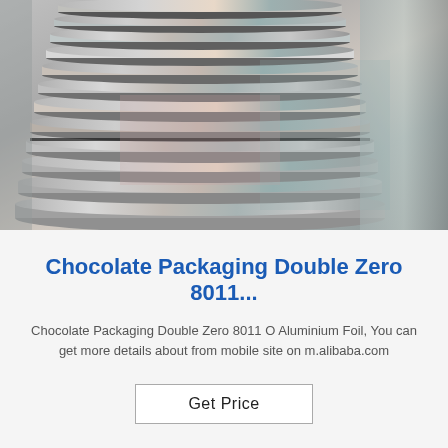[Figure (photo): Stacked rolls of shiny aluminium foil, metallic silver with some pink/teal reflections, viewed from the side showing multiple coiled layers.]
Chocolate Packaging Double Zero 8011...
Chocolate Packaging Double Zero 8011 O Aluminium Foil, You can get more details about from mobile site on m.alibaba.com
Get Price